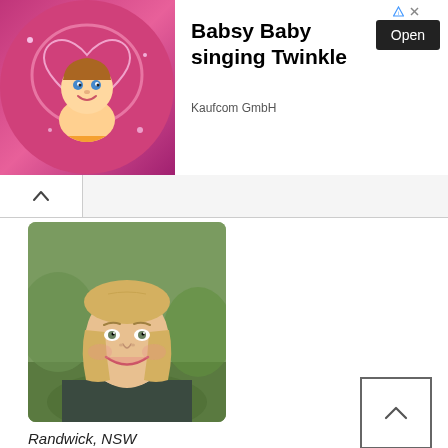[Figure (screenshot): Advertisement banner for 'Babsy Baby singing Twinkle' by Kaufcom GmbH with a cartoon baby image on pink background and an Open button]
Babsy Baby singing Twinkle
Kaufcom GmbH
[Figure (photo): Professional headshot of a middle-aged woman with blonde hair, smiling, wearing a dark grey top with white collar, photographed outdoors with green blurred background]
Randwick, NSW
Address: 48-50 St Pauls Street, Randwick NSW 2031 | PO Box 3353, St Pauls NSW 2031
Years of experience: Over 20 years
Main treatments: Women's Health | Infertility